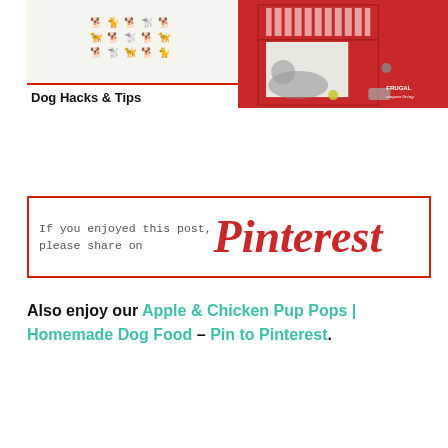[Figure (photo): Collage image showing a grid of red dog silhouette icons on light background, a bone-shaped treat on a floral background, and a black and white dog lying near a red locker/cabinet with a striped cushion. Text overlay reads 'Dog Hacks & Tips'. Frugal Coupon Living logo in bottom right.]
[Figure (infographic): White banner with red border. Left side has monospace text 'If you enjoyed this post, please share on' and right side has large red cursive Pinterest logo text.]
Also enjoy our Apple & Chicken Pup Pops | Homemade Dog Food – Pin to Pinterest.